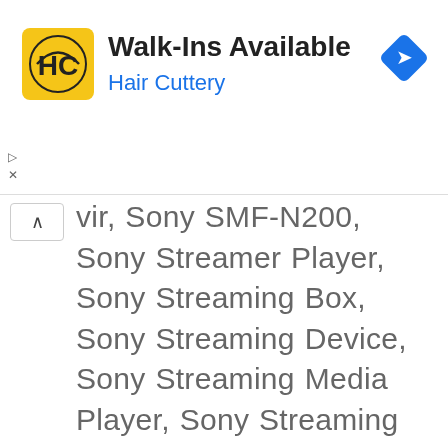[Figure (logo): Hair Cuttery advertisement banner with HC logo, text 'Walk-Ins Available' and 'Hair Cuttery', and a blue navigation arrow icon]
vir, Sony SMF-N200, Sony Streamer Player, Sony Streaming Box, Sony Streaming Device, Sony Streaming Media Player, Sony Streaming Player, Sony TV Media Player, Sony TV Video Player, Sony Wireless Media Player, Stream Video Player, Streaming, Streaming Internet Player, Streaming